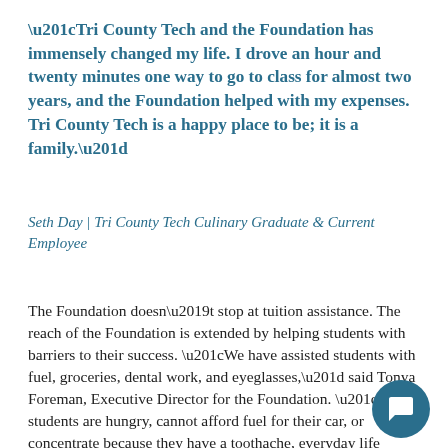“Tri County Tech and the Foundation has immensely changed my life. I drove an hour and twenty minutes one way to go to class for almost two years, and the Foundation helped with my expenses. Tri County Tech is a happy place to be; it is a family.”
Seth Day | Tri County Tech Culinary Graduate & Current Employee
The Foundation doesn’t stop at tuition assistance. The reach of the Foundation is extended by helping students with barriers to their success. “We have assisted students with fuel, groceries, dental work, and eyeglasses,” said Tonya Foreman, Executive Director for the Foundation. “If our students are hungry, cannot afford fuel for their car, or concentrate because they have a toothache, everyday life barriers can potentially derail their abi… graduate.”